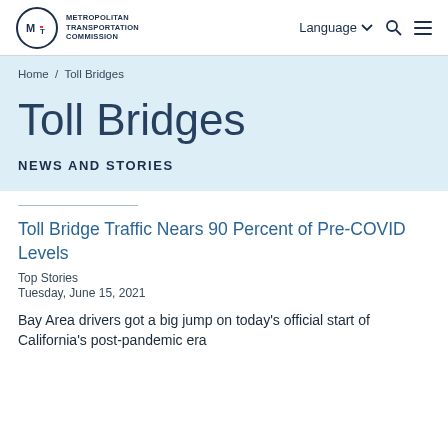Metropolitan Transportation Commission
Home / Toll Bridges
Toll Bridges
NEWS AND STORIES
Toll Bridge Traffic Nears 90 Percent of Pre-COVID Levels
Top Stories
Tuesday, June 15, 2021
Bay Area drivers got a big jump on today's official start of California's post-pandemic era